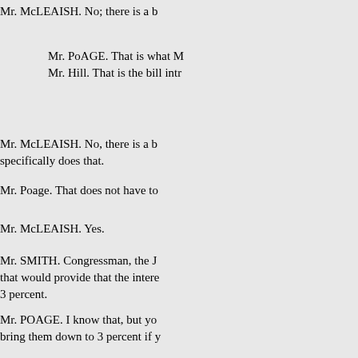Mr. McLEAISH. No; there is a b
Mr. PoAGE. That is what M
Mr. Hill. That is the bill intr
Mr. McLEAISH. No, there is a b specifically does that.
Mr. Poage. That does not have to
Mr. McLEAISH. Yes.
Mr. SMITH. Congressman, the J that would provide that the intere 3 percent.
Mr. POAGE. I know that, but yo bring them down to 3 percent if y want to do so. Mr. Hill. I would k McLeaish how are the funds in th this livestock loan program in the
Mr. McLEAISH. Mr. Smith ha
Mr. SMITH. Yes, sir. We have next fiscal year, that is, fiscal 19 amount would return to the revo